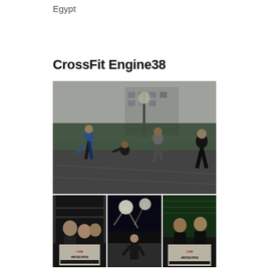Egypt
CrossFit Engine38
[Figure (photo): Collage of photos from CrossFit Engine38 in Egypt. Top: group of athletes exercising outdoors at night on a basketball court with green fence and building in background. Bottom left: people smiling holding a sign reading 'I AM #INTHEOPEN'. Bottom center: athlete training outdoors at night with bright lights. Bottom right: two people holding a sign reading 'I AM #INTHEOPEN'.]